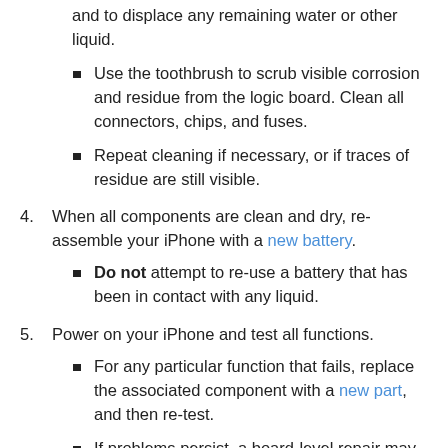and to displace any remaining water or other liquid.
Use the toothbrush to scrub visible corrosion and residue from the logic board. Clean all connectors, chips, and fuses.
Repeat cleaning if necessary, or if traces of residue are still visible.
4. When all components are clean and dry, re-assemble your iPhone with a new battery.
Do not attempt to re-use a battery that has been in contact with any liquid.
5. Power on your iPhone and test all functions.
For any particular function that fails, replace the associated component with a new part, and then re-test.
If problems persist, a board-level repair may